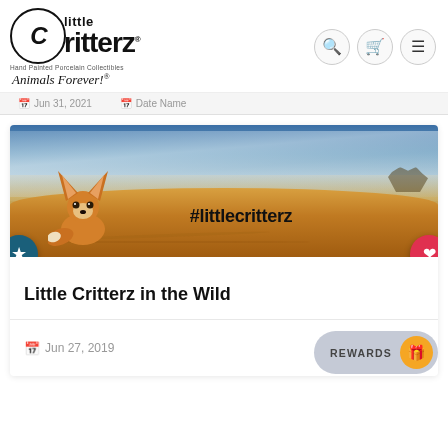little Critterz Hand Painted Porcelain Collectibles Animals Forever!
Jun 31, 2021  |  Date Name
[Figure (photo): Banner image showing a fennec fox figurine on a desert sand dune background with cloudy sky. Text overlay reads #littlecritterz. Blue star button on left, red heart button on right.]
Little Critterz in the Wild
Jun 27, 2019
REWARDS